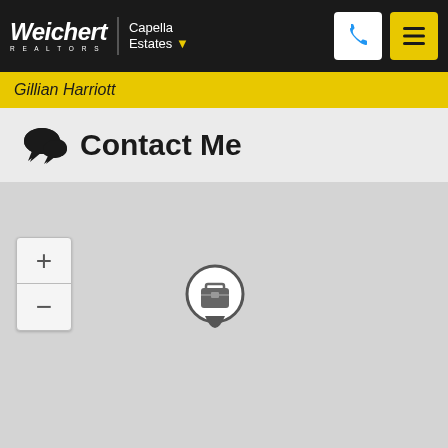Weichert REALTORS | Capella Estates
Gillian Harriott
Contact Me
[Figure (map): Interactive map showing a location pin with a briefcase icon representing a real estate office location. Zoom in (+) and zoom out (-) controls are visible on the left side of the map.]